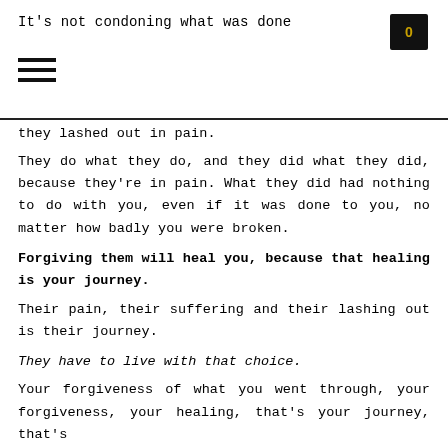It's not condoning what was done
they lashed out in pain.
They do what they do, and they did what they did, because they're in pain. What they did had nothing to do with you, even if it was done to you, no matter how badly you were broken.
Forgiving them will heal you, because that healing is your journey.
Their pain, their suffering and their lashing out is their journey.
They have to live with that choice.
Your forgiveness of what you went through, your forgiveness, your healing, that's your journey, that's